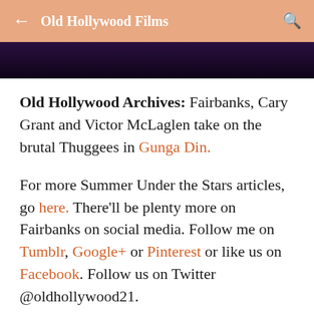Old Hollywood Films
[Figure (photo): Dark, partially visible image strip showing a scene, likely from the film Gunga Din, with purple-toned dark background]
Old Hollywood Archives: Fairbanks, Cary Grant and Victor McLaglen take on the brutal Thuggees in Gunga Din.
For more Summer Under the Stars articles, go here. There'll be plenty more on Fairbanks on social media. Follow me on Tumblr, Google+ or Pinterest or like us on Facebook. Follow us on Twitter @oldhollywood21.